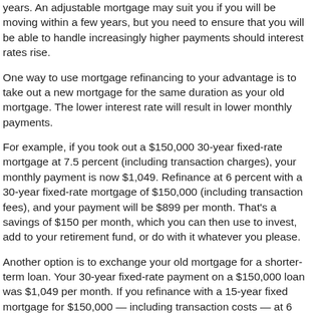years. An adjustable mortgage may suit you if you will be moving within a few years, but you need to ensure that you will be able to handle increasingly higher payments should interest rates rise.
One way to use mortgage refinancing to your advantage is to take out a new mortgage for the same duration as your old mortgage. The lower interest rate will result in lower monthly payments.
For example, if you took out a $150,000 30-year fixed-rate mortgage at 7.5 percent (including transaction charges), your monthly payment is now $1,049. Refinance at 6 percent with a 30-year fixed-rate mortgage of $150,000 (including transaction fees), and your payment will be $899 per month. That's a savings of $150 per month, which you can then use to invest, add to your retirement fund, or do with it whatever you please.
Another option is to exchange your old mortgage for a shorter-term loan. Your 30-year fixed-rate payment on a $150,000 loan was $1,049 per month. If you refinance with a 15-year fixed mortgage for $150,000 — including transaction costs — at 6 percent, your monthly payment will be $1,266. This payment is only $217 more than your previous mortgage, but your home will